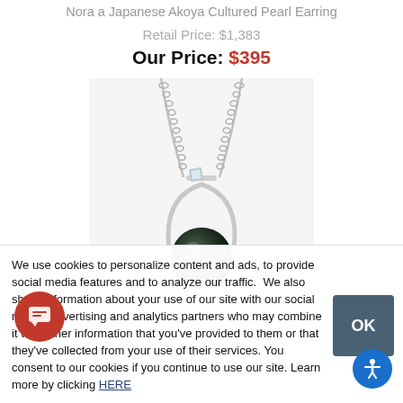Nora a Japanese Akoya Cultured Pearl Earring
Retail Price: $1,383
Our Price: $395
[Figure (photo): A silver pendant necklace featuring a chain, a small square diamond setting, a teardrop-shaped silver frame, and a dark green/black pearl at the bottom.]
We use cookies to personalize content and ads, to provide social media features and to analyze our traffic. We also share information about your use of our site with our social media, advertising and analytics partners who may combine it with other information that you've provided to them or that they've collected from your use of their services. You consent to our cookies if you continue to use our site. Learn more by clicking HERE